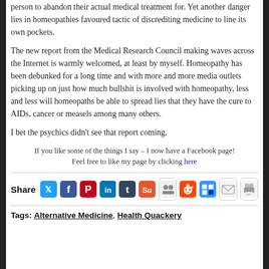person to abandon their actual medical treatment for. Yet another danger lies in homeopathies favoured tactic of discrediting medicine to line its own pockets.
The new report from the Medical Research Council making waves across the Internet is warmly welcomed, at least by myself. Homeopathy has been debunked for a long time and with more and more media outlets picking up on just how much bullshit is involved with homeopathy, less and less will homeopaths be able to spread lies that they have the cure to AIDs, cancer or measels among many others.
I bet the psychics didn't see that report coming.
If you like some of the things I say – I now have a Facebook page! Feel free to like my page by clicking here
[Figure (infographic): Share row with social media icons: Twitter, Facebook, Pinterest, LinkedIn, Tumblr, StumbleUpon, Google+, Reddit, Delicious, Email, Print]
Tags: Alternative Medicine, Health Quackery